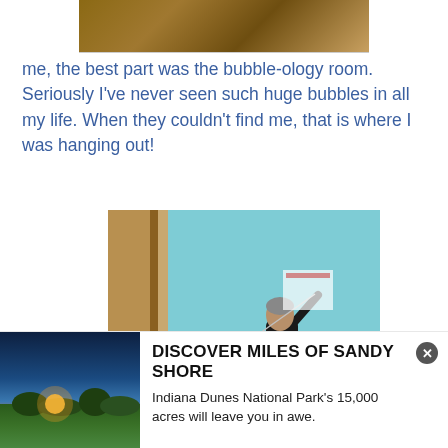[Figure (photo): Partial photo of a wooden surface or table, cropped at top of page]
me, the best part was the bubble-ology room. Seriously I've never seen such huge bubbles in all my life. When they couldn't find me, that is where I was hanging out!
[Figure (photo): Photo of a person in a black shirt reaching up with a bubble wand over a large metal tray of soapy water in a children's museum bubble room. A young girl watches in the background.]
[Figure (photo): Advertisement image showing a sunset over Indiana Dunes with sand and vegetation in the foreground]
DISCOVER MILES OF SANDY SHORE
Indiana Dunes National Park's 15,000 acres will leave you in awe.